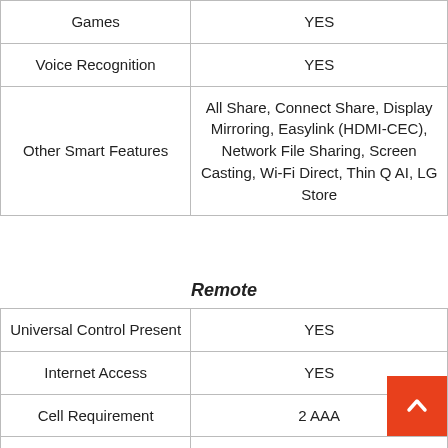|  |  |
| --- | --- |
| Games | YES |
| Voice Recognition | YES |
| Other Smart Features | All Share, Connect Share, Display Mirroring, Easylink (HDMI-CEC), Network File Sharing, Screen Casting, Wi-Fi Direct, Thin Q AI, LG Store |
Remote
|  |  |
| --- | --- |
| Universal Control Present | YES |
| Internet Access | YES |
| Cell Requirement | 2 AAA |
| Other Remote Features | Magic Remote |